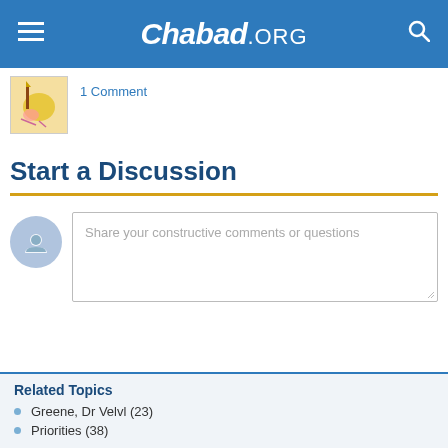Chabad.ORG
1 Comment
Start a Discussion
Share your constructive comments or questions
Related Topics
Greene, Dr Velvl (23)
Priorities (38)